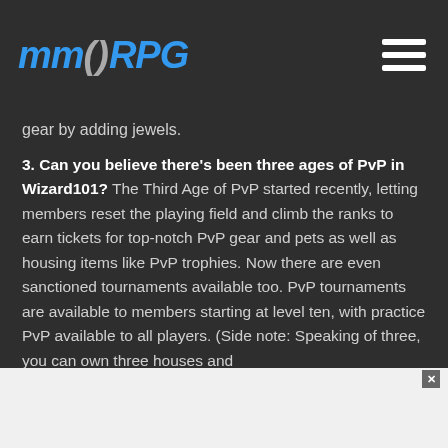MMORPG
gear by adding jewels.
3. Can you believe there's been three ages of PvP in Wizard101? The Third Age of PvP started recently, letting members reset the playing field and climb the ranks to earn tickets for top-notch PvP gear and pets as well as housing items like PvP trophies. Now there are even sanctioned tournaments available too. PvP tournaments are available to members starting at level ten, with practice PvP available to all players. (Side note: Speaking of three, you can own three houses and